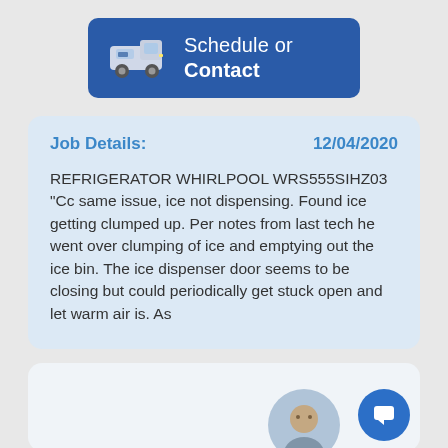[Figure (screenshot): Blue button with a van icon and text 'Schedule or Contact']
Job Details:     12/04/2020

REFRIGERATOR WHIRLPOOL WRS555SIHZ03
"Cc same issue, ice not dispensing. Found ice getting clumped up. Per notes from last tech he went over clumping of ice and emptying out the ice bin. The ice dispenser door seems to be closing but could periodically get stuck open and let warm air is. As
[Figure (photo): Bottom card with a partially visible person avatar and a blue chat bubble icon button]